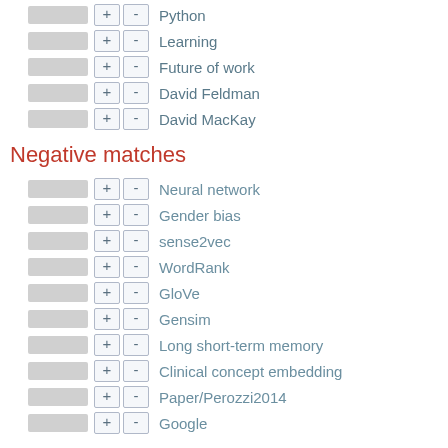Python
Learning
Future of work
David Feldman
David MacKay
Negative matches
Neural network
Gender bias
sense2vec
WordRank
GloVe
Gensim
Long short-term memory
Clinical concept embedding
Paper/Perozzi2014
Google